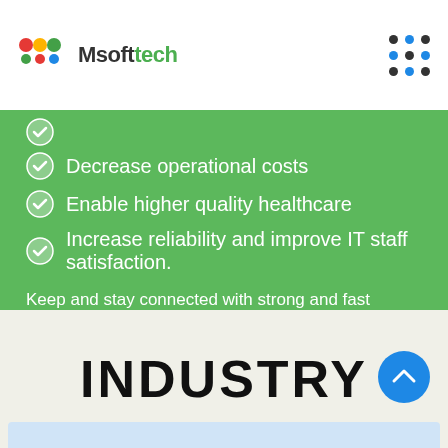Msoftech
(partially visible item)
Decrease operational costs
Enable higher quality healthcare
Increase reliability and improve IT staff satisfaction.
Keep and stay connected with strong and fast connection.
DISCOVER MORE
INDUSTRY